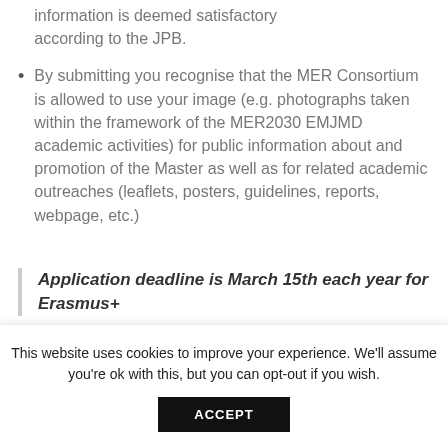information is deemed satisfactory according to the JPB.
By submitting you recognise that the MER Consortium is allowed to use your image (e.g. photographs taken within the framework of the MER2030 EMJMD academic activities) for public information about and promotion of the Master as well as for related academic outreaches (leaflets, posters, guidelines, reports, webpage, etc.)
Application deadline is March 15th each year for Erasmus+
This website uses cookies to improve your experience. We'll assume you're ok with this, but you can opt-out if you wish.